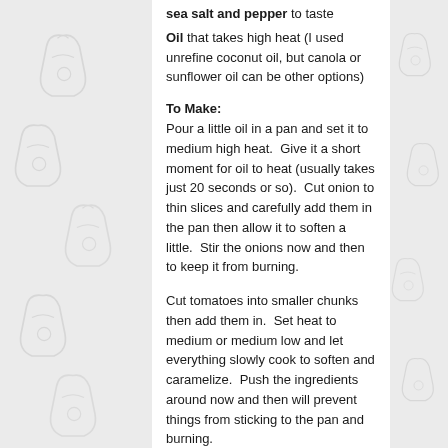sea salt and pepper to taste
Oil that takes high heat (I used unrefine coconut oil, but canola or sunflower oil can be other options)
To Make:
Pour a little oil in a pan and set it to medium high heat.  Give it a short moment for oil to heat (usually takes just 20 seconds or so).  Cut onion to thin slices and carefully add them in the pan then allow it to soften a little.  Stir the onions now and then to keep it from burning.
Cut tomatoes into smaller chunks then add them in.  Set heat to medium or medium low and let everything slowly cook to soften and caramelize.  Push the ingredients around now and then will prevent things from sticking to the pan and burning.
Cook 1...